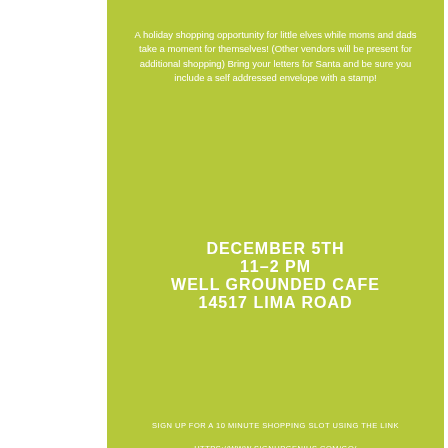A holiday shopping opportunity for little elves while moms and dads take a moment for themselves! (Other vendors will be present for additional shopping) Bring your letters for Santa and be sure you include a self addressed envelope with a stamp!
DECEMBER 5TH
11-2 PM
WELL GROUNDED CAFE
14517 LIMA ROAD
SIGN UP FOR A 10 MINUTE SHOPPING SLOT USING THE LINK
HTTPS://WWW.SIGNUPGENIUS.COM/GO/508DC4BABAC2DA0FF2-SANTAS
ITEMS AVAILABLE FOR A SMALL SUGGESTED DONATION TO FROM THIS DAY FORWARD
Santa's Junior Stop & Shop 12-05
This is a perfect opportunity for the little ones to do their own shopping! Each shopper will have an “Elf” to help them. Also, bring your letters for Santa along with a self-addressed envelope and stamp to drop off in the North Pole mailbox!
read more